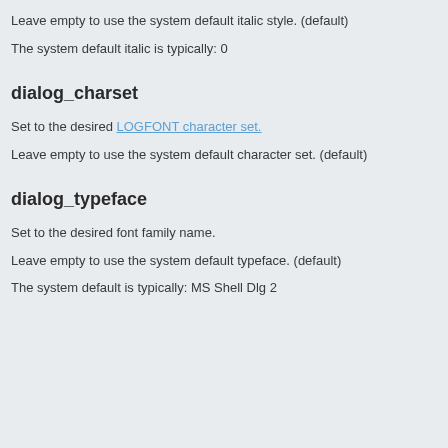Leave empty to use the system default italic style. (default)
The system default italic is typically: 0
dialog_charset
Set to the desired LOGFONT character set.
Leave empty to use the system default character set. (default)
dialog_typeface
Set to the desired font family name.
Leave empty to use the system default typeface. (default)
The system default is typically: MS Shell Dlg 2